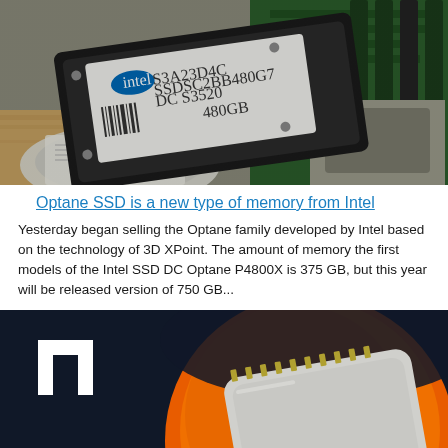[Figure (photo): Photo of multiple hard drives and SSDs including an Intel SSD overlapping a traditional HDD, with a laptop in the background.]
Optane SSD is a new type of memory from Intel
Yesterday began selling the Optane family developed by Intel based on the technology of 3D XPoint. The amount of memory the first models of the Intel SSD DC Optane P4800X is 375 GB, but this year will be released version of 750 GB...
[Figure (photo): AMD Ryzen processor promotional image showing the RYZEN branded CPU chip against a dark background with the AMD logo on the left and orange/red circular design element.]